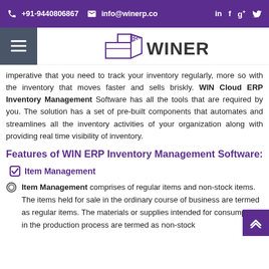+91-9440806867  info@winerp.co  in  f  g+  (twitter)
[Figure (logo): WINERP logo with box icon and text WINERP]
imperative that you need to track your inventory regularly, more so with the inventory that moves faster and sells briskly. WIN Cloud ERP Inventory Management Software has all the tools that are required by you. The solution has a set of pre-built components that automates and streamlines all the inventory activities of your organization along with providing real time visibility of inventory.
Features of WIN ERP Inventory Management Software:
Item Management
Item Management comprises of regular items and non-stock items. The items held for sale in the ordinary course of business are termed as regular items. The materials or supplies intended for consumption in the production process are termed as non-stock